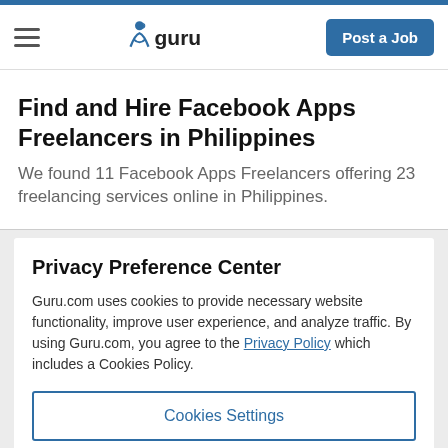guru — Post a Job
Find and Hire Facebook Apps Freelancers in Philippines
We found 11 Facebook Apps Freelancers offering 23 freelancing services online in Philippines.
Privacy Preference Center
Guru.com uses cookies to provide necessary website functionality, improve user experience, and analyze traffic. By using Guru.com, you agree to the Privacy Policy which includes a Cookies Policy.
Cookies Settings
Reject All